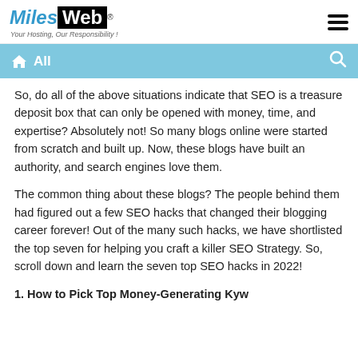MilesWeb® — Your Hosting, Our Responsibility!
All
So, do all of the above situations indicate that SEO is a treasure deposit box that can only be opened with money, time, and expertise? Absolutely not! So many blogs online were started from scratch and built up. Now, these blogs have built an authority, and search engines love them.
The common thing about these blogs? The people behind them had figured out a few SEO hacks that changed their blogging career forever! Out of the many such hacks, we have shortlisted the top seven for helping you craft a killer SEO Strategy. So, scroll down and learn the seven top SEO hacks in 2022!
1. How to Pick Top Money-Generating Keywords